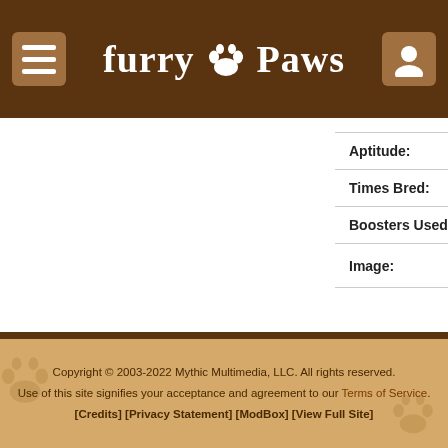furry 🐾 Paws
| Field | Value |
| --- | --- |
| Aptitude: | Musical Freestyle, Agility, Flyb... |
| Times Bred: | 12 |
| Boosters Used: | 5/5 |
| Image: | Regenerate |
Hips: Excellent   Elbows: Excellent   Eyes: Ex...
Copyright © 2003-2022 Mythic Multimedia, LLC. All rights reserved. Use of this site signifies your acceptance and agreement to our Terms of Service. [Credits] [Privacy Statement] [ModBox] [View Full Site]